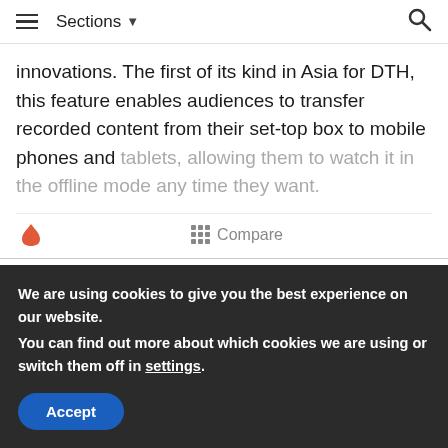Sections
innovations. The first of its kind in Asia for DTH, this feature enables audiences to transfer recorded content from their set-top box to mobile phones and tablets, allowing them to watch it in the offline mode any time they want.
[Figure (screenshot): Dark TV screen / video player area]
We are using cookies to give you the best experience on our website.
You can find out more about which cookies we are using or switch them off in settings.
Accept